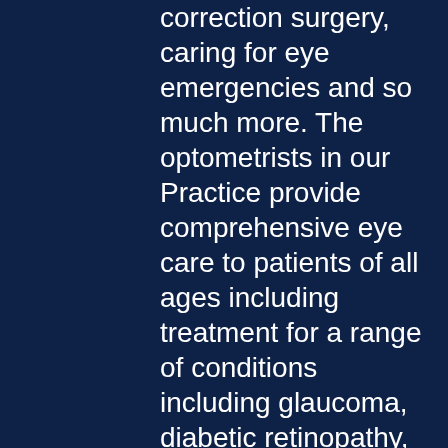correction surgery, caring for eye emergencies and so much more. The optometrists in our Practice provide comprehensive eye care to patients of all ages including treatment for a range of conditions including glaucoma, diabetic retinopathy, dry eye, cataracts and macular degeneration.
Get What You're Looking for with Pasadena Eye Care
Do you need eyeglasses? Are you looking for the very best designer glasses frames or a wide selection of prescription eye frames? Maybe you're just hoping to schedule a visit with the optometrist before your